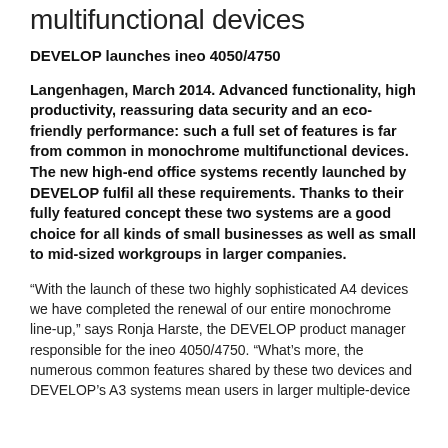multifunctional devices
DEVELOP launches ineo 4050/4750
Langenhagen, March 2014. Advanced functionality, high productivity, reassuring data security and an eco-friendly performance: such a full set of features is far from common in monochrome multifunctional devices. The new high-end office systems recently launched by DEVELOP fulfil all these requirements. Thanks to their fully featured concept these two systems are a good choice for all kinds of small businesses as well as small to mid-sized workgroups in larger companies.
“With the launch of these two highly sophisticated A4 devices we have completed the renewal of our entire monochrome line-up,” says Ronja Harste, the DEVELOP product manager responsible for the ineo 4050/4750. “What’s more, the numerous common features shared by these two devices and DEVELOP’s A3 systems mean users in larger multiple-device